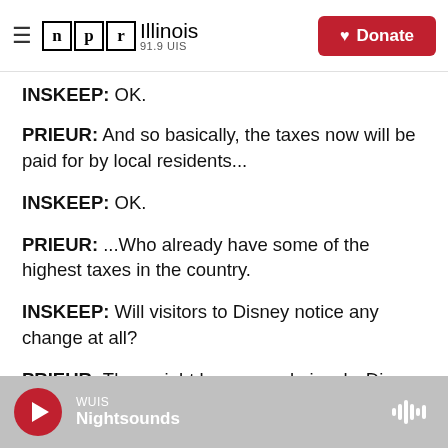NPR Illinois 91.9 UIS | Donate
INSKEEP: OK.
PRIEUR: And so basically, the taxes now will be paid for by local residents...
INSKEEP: OK.
PRIEUR: ...Who already have some of the highest taxes in the country.
INSKEEP: Will visitors to Disney notice any change at all?
PRIEUR: They might because, obviously, Disney
WUIS Nightsounds